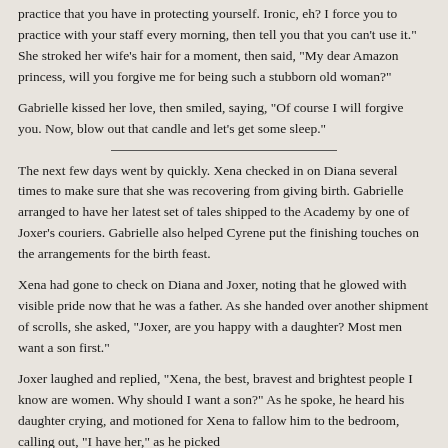practice that you have in protecting yourself. Ironic, eh? I force you to practice with your staff every morning, then tell you that you can't use it." She stroked her wife's hair for a moment, then said, "My dear Amazon princess, will you forgive me for being such a stubborn old woman?"
Gabrielle kissed her love, then smiled, saying, "Of course I will forgive you. Now, blow out that candle and let's get some sleep."
The next few days went by quickly. Xena checked in on Diana several times to make sure that she was recovering from giving birth. Gabrielle arranged to have her latest set of tales shipped to the Academy by one of Joxer's couriers. Gabrielle also helped Cyrene put the finishing touches on the arrangements for the birth feast.
Xena had gone to check on Diana and Joxer, noting that he glowed with visible pride now that he was a father. As she handed over another shipment of scrolls, she asked, "Joxer, are you happy with a daughter? Most men want a son first."
Joxer laughed and replied, "Xena, the best, bravest and brightest people I know are women. Why should I want a son?" As he spoke, he heard his daughter crying, and motioned for Xena to fallow him to the bedroom, calling out, "I have her," as he picked